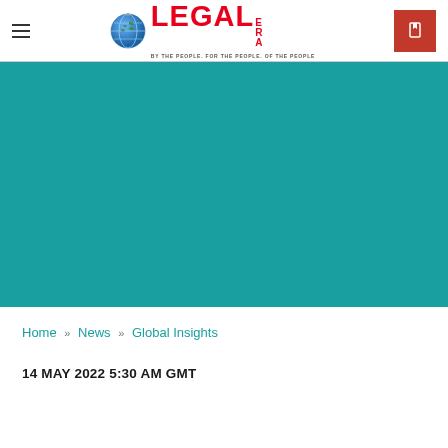Legal Era — BY THE PEOPLE, FOR THE PEOPLE, OF THE PEOPLE
[Figure (logo): Legal Era logo with globe icon and red text reading LEGAL ERA, tagline: BY THE PEOPLE, FOR THE PEOPLE, OF THE PEOPLE]
[Figure (illustration): Teal/turquoise colored banner image background]
Home » News » Global Insights
14 MAY 2022 5:30 AM GMT